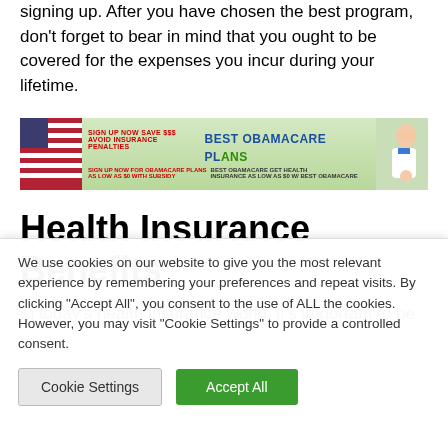signing up. After you have chosen the best program, don't forget to bear in mind that you ought to be covered for the expenses you incur during your lifetime.
[Figure (other): Advertisement banner for Best Obamacare Plans. Text reads: SIGN UP NOW SAVE $$$ AVOID INSURANCE PENALTIES BEST OBAMACARE PLANS SIGN UP NOW FOR OBAMACARE PLANS AS LOW AS $0 WITH SUBSIDY BEST OBAMACARE GET HEALTH INSURANCE AS LOW AS $0 W/ BEST OBAMACARE. Features American flag graphic and image of a nurse/doctor.]
Health Insurance Benefits
In today's health insurance world, it's important to be
We use cookies on our website to give you the most relevant experience by remembering your preferences and repeat visits. By clicking "Accept All", you consent to the use of ALL the cookies. However, you may visit "Cookie Settings" to provide a controlled consent.